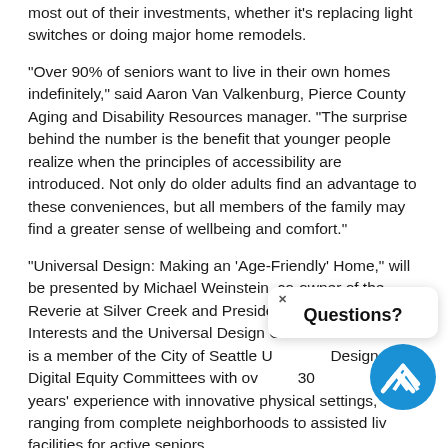most out of their investments, whether it's replacing light switches or doing major home remodels.
“Over 90% of seniors want to live in their own homes indefinitely,” said Aaron Van Valkenburg, Pierce County Aging and Disability Resources manager. “The surprise behind the number is the benefit that younger people realize when the principles of accessibility are introduced. Not only do older adults find an advantage to these conveniences, but all members of the family may find a greater sense of wellbeing and comfort.”
“Universal Design: Making an ‘Age-Friendly’ Home,” will be presented by Michael Weinstein, co-owner of the Reverie at Silver Creek and President of Synthesis Interests and the Universal Design Collective. Weinstein is a member of the City of Seattle Universal Design and Digital Equity Committees with over 30 years’ experience with innovative physical settings, ranging from complete neighborhoods to assisted living facilities for active seniors.
[Figure (other): A popup dialog with close button (x) showing 'Questions?' text and a circular blue icon with white diagonal stripes (logo).]